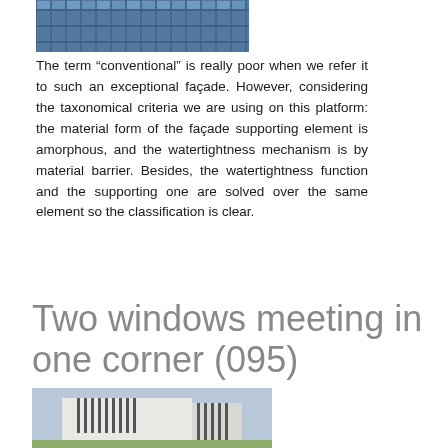[Figure (photo): Top portion of a building facade with blue glass windows arranged in a grid pattern]
The term “conventional” is really poor when we refer it to such an exceptional façade. However, considering the taxonomical criteria we are using on this platform: the material form of the façade supporting element is amorphous, and the watertightness mechanism is by material barrier. Besides, the watertightness function and the supporting one are solved over the same element so the classification is clear.
Two windows meeting in one corner (095)
[Figure (photo): A modern white cubic building with vertical window slats on two sides meeting at a corner, with trees visible in the foreground]